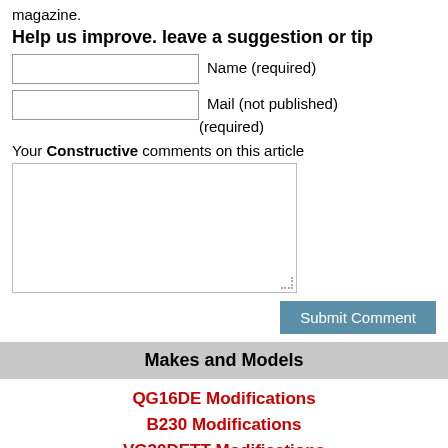magazine.
Help us improve. leave a suggestion or tip
Name (required)
Mail (not published) (required)
Your Constructive comments on this article
Submit Comment
Makes and Models
QG16DE Modifications
B230 Modifications
VG30DETT Modifications
Alfa Twin Spark Modifications